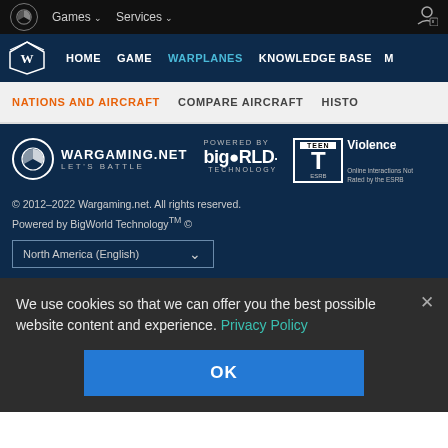Games ∨  Services ∨
HOME  GAME  WARPLANES  KNOWLEDGE BASE  M...
NATIONS AND AIRCRAFT  COMPARE AIRCRAFT  HISTO...
[Figure (logo): Wargaming.net LET'S BATTLE logo with BigWorld Technology logo and ESRB Teen rating (Violence)]
© 2012–2022 Wargaming.net. All rights reserved.
Powered by BigWorld Technology™ ©
North America (English)
We use cookies so that we can offer you the best possible website content and experience. Privacy Policy
OK